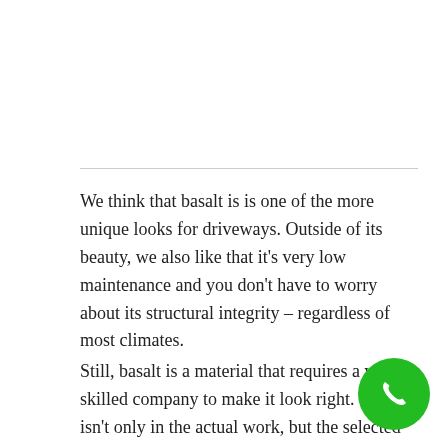We think that basalt is is one of the more unique looks for driveways. Outside of its beauty, we also like that it's very low maintenance and you don't have to worry about its structural integrity – regardless of most climates.
Still, basalt is a material that requires a very skilled company to make it look right. This isn't only in the actual work, but the selected contractor has to